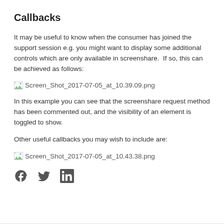Callbacks
It may be useful to know when the consumer has joined the support session e.g. you might want to display some additional controls which are only available in screenshare.  If so, this can be achieved as follows:
[Figure (screenshot): Broken image placeholder with filename: Screen_Shot_2017-07-05_at_10.39.09.png]
In this example you can see that the screenshare request method has been commented out, and the visibility of an element is toggled to show.
Other useful callbacks you may wish to include are:
[Figure (screenshot): Broken image placeholder with filename: Screen_Shot_2017-07-05_at_10.43.38.png]